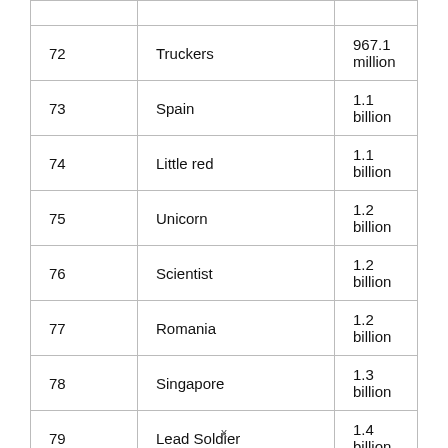|  |  |  |
| --- | --- | --- |
| 72 | Truckers | 967.1 million |
| 73 | Spain | 1.1 billion |
| 74 | Little red | 1.1 billion |
| 75 | Unicorn | 1.2 billion |
| 76 | Scientist | 1.2 billion |
| 77 | Romania | 1.2 billion |
| 78 | Singapore | 1.3 billion |
| 79 | Lead Soldier | 1.4 billion |
x